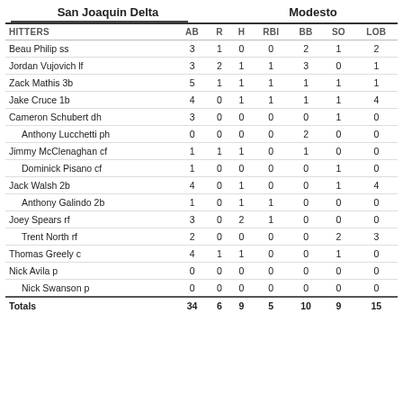San Joaquin Delta
Modesto
| HITTERS | AB | R | H | RBI | BB | SO | LOB |
| --- | --- | --- | --- | --- | --- | --- | --- |
| Beau Philip ss | 3 | 1 | 0 | 0 | 2 | 1 | 2 |
| Jordan Vujovich lf | 3 | 2 | 1 | 1 | 3 | 0 | 1 |
| Zack Mathis 3b | 5 | 1 | 1 | 1 | 1 | 1 | 1 |
| Jake Cruce 1b | 4 | 0 | 1 | 1 | 1 | 1 | 4 |
| Cameron Schubert dh | 3 | 0 | 0 | 0 | 0 | 1 | 0 |
|   Anthony Lucchetti ph | 0 | 0 | 0 | 0 | 2 | 0 | 0 |
| Jimmy McClenaghan cf | 1 | 1 | 1 | 0 | 1 | 0 | 0 |
|   Dominick Pisano cf | 1 | 0 | 0 | 0 | 0 | 1 | 0 |
| Jack Walsh 2b | 4 | 0 | 1 | 0 | 0 | 1 | 4 |
|   Anthony Galindo 2b | 1 | 0 | 1 | 1 | 0 | 0 | 0 |
| Joey Spears rf | 3 | 0 | 2 | 1 | 0 | 0 | 0 |
|   Trent North rf | 2 | 0 | 0 | 0 | 0 | 2 | 3 |
| Thomas Greely c | 4 | 1 | 1 | 0 | 0 | 1 | 0 |
| Nick Avila p | 0 | 0 | 0 | 0 | 0 | 0 | 0 |
|   Nick Swanson p | 0 | 0 | 0 | 0 | 0 | 0 | 0 |
| Totals | 34 | 6 | 9 | 5 | 10 | 9 | 15 |